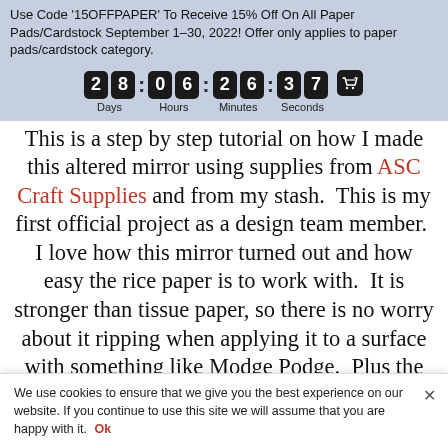Use Code '15OFFPAPER' To Receive 15% Off On All Paper Pads/Cardstock September 1-30, 2022! Offer only applies to paper pads/cardstock category.
[Figure (infographic): Countdown timer showing 28 days, 06 hours, 26 minutes, 37 seconds with dark digit tiles and a shopping cart icon]
This is a step by step tutorial on how I made this altered mirror using supplies from ASC Craft Supplies and from my stash.  This is my first official project as a design team member.  I love how this mirror turned out and how easy the rice paper is to work with.  It is stronger than tissue paper, so there is no worry about it ripping when applying it to a surface with something like Modge Podge.  Plus the prints and colors are so vibrant and beautiful  I have decided that this mirror is going to mom for Mother
We use cookies to ensure that we give you the best experience on our website. If you continue to use this site we will assume that you are happy with it.